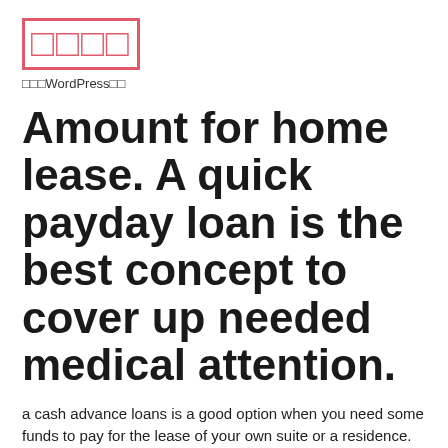□□□□
□□□WordPress□□
Amount for home lease. A quick payday loan is the best concept to cover up needed medical attention.
a cash advance loans is a good option when you need some funds to pay for the lease of your own suite or a residence. Owning a short-term credit you might not need to bother about paying for more than flat which cost-less